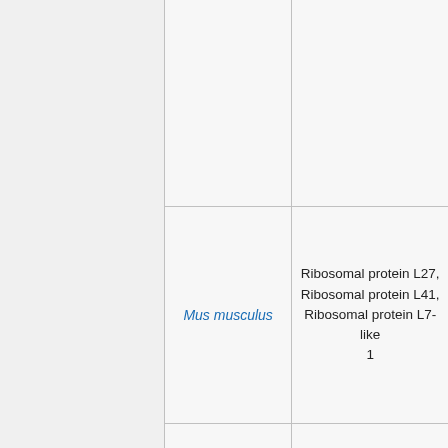| (col1) | Species | Protein Names |
| --- | --- | --- |
|  |  |  |
|  | Mus musculus | Ribosomal protein L27, Ribosomal protein L41, Ribosomal protein L7-like 1 |
|  | Glycine max | 60S ribosome protein |